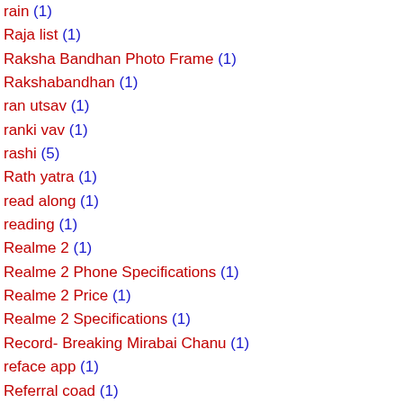rain (1)
Raja list (1)
Raksha Bandhan Photo Frame (1)
Rakshabandhan (1)
ran utsav (1)
ranki vav (1)
rashi (5)
Rath yatra (1)
read along (1)
reading (1)
Realme 2 (1)
Realme 2 Phone Specifications (1)
Realme 2 Price (1)
Realme 2 Specifications (1)
Record- Breaking Mirabai Chanu (1)
reface app (1)
Referral coad (1)
Remove Aadhaar From Paytm Account (1)
Result (12)